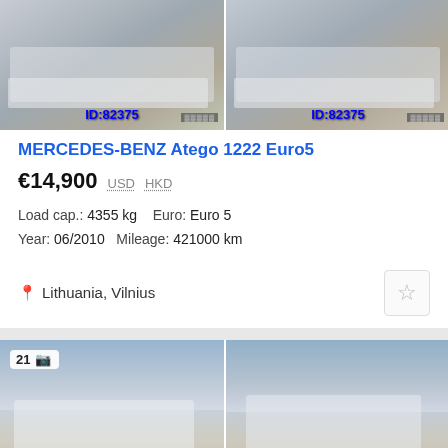[Figure (photo): Two photos of a white Mercedes-Benz Atego box truck from different angles, both labeled with ID:82375]
MERCEDES-BENZ Atego 1222 Euro5
€14,900  USD  HKD
Load cap.: 4355 kg   Euro: Euro 5
Year: 06/2010  Mileage: 421000 km
Lithuania, Vilnius
[Figure (photo): Two photos of a white Mercedes-Benz Sprinter box van from different angles, showing a parking lot background]